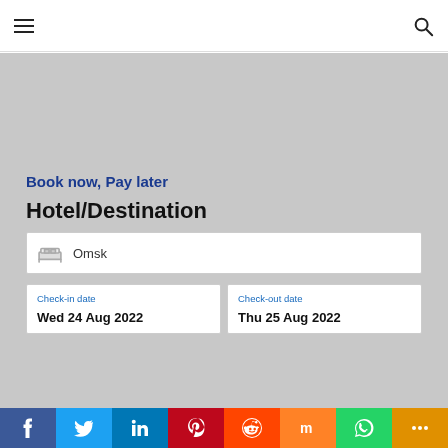Navigation header with hamburger menu and search icon
Book now, Pay later
Hotel/Destination
Omsk
Check-in date: Wed 24 Aug 2022
Check-out date: Thu 25 Aug 2022
Social share bar: Facebook, Twitter, LinkedIn, Pinterest, Reddit, Mix, WhatsApp, More